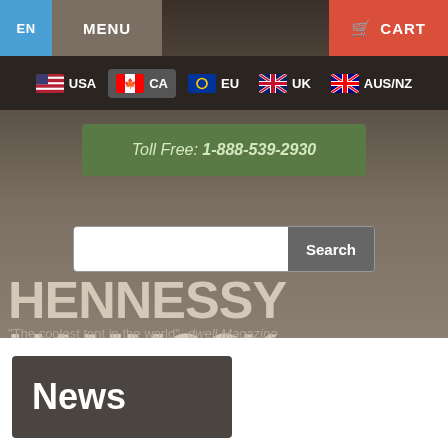EN | MENU | CART
[Figure (screenshot): Navigation bar with country flags: USA, CA (selected/highlighted), EU, UK, AUS/NZ]
Toll Free: 1-888-539-2930
Search
HENNESSY HAMMOCK
"The coolest tent in the world"  dwell Magazine
News